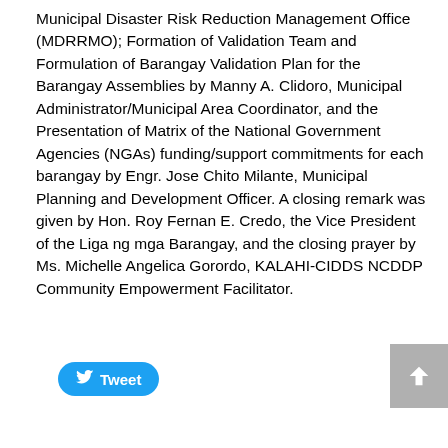Municipal Disaster Risk Reduction Management Office (MDRRMO); Formation of Validation Team and Formulation of Barangay Validation Plan for the Barangay Assemblies by Manny A. Clidoro, Municipal Administrator/Municipal Area Coordinator, and the Presentation of Matrix of the National Government Agencies (NGAs) funding/support commitments for each barangay by Engr. Jose Chito Milante, Municipal Planning and Development Officer. A closing remark was given by Hon. Roy Fernan E. Credo, the Vice President of the Liga ng mga Barangay, and the closing prayer by Ms. Michelle Angelica Gorordo, KALAHI-CIDDS NCDDP Community Empowerment Facilitator.
[Figure (other): Tweet button (Twitter share button) with bird icon and 'Tweet' text in white on blue rounded rectangle background]
[Figure (other): Scroll-to-top button: grey square with white upward arrow icon]